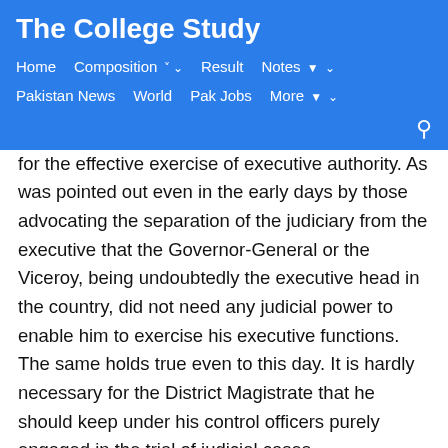The College Study
Home   Composition   Result   Notes   Pakistan News   World   Pak Jobs   More
for the effective exercise of executive authority. As was pointed out even in the early days by those advocating the separation of the judiciary from the executive that the Governor-General or the Viceroy, being undoubtedly the executive head in the country, did not need any judicial power to enable him to exercise his executive functions. The same holds true even to this day. It is hardly necessary for the District Magistrate that he should keep under his control officers purely engaged in the trial of judicial cases.